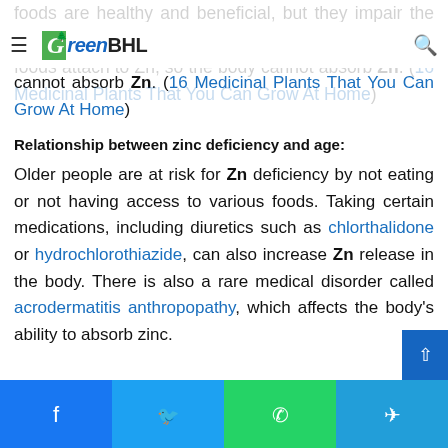GreenBHL
foods are healthy and beneficial, but they impair the quality of zinc because they contain phytates. These foods attach to Zn, so the body cannot absorb Zn. (16 Medicinal Plants That You Can Grow At Home)
Relationship between zinc deficiency and age:
Older people are at risk for Zn deficiency by not eating or not having access to various foods. Taking certain medications, including diuretics such as chlorthalidone or hydrochlorothiazide, can also increase Zn release in the body. There is also a rare medical disorder called acrodermatitis anthropopathy, which affects the body's ability to absorb zinc.
Facebook | Twitter | WhatsApp | Telegram